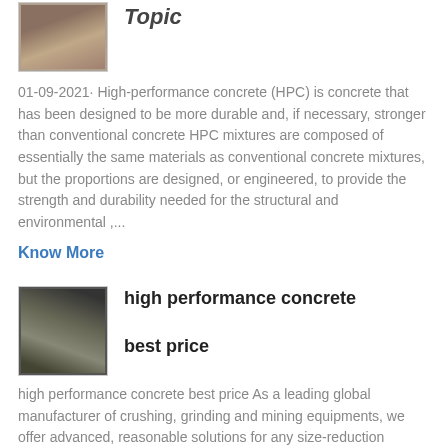[Figure (photo): Thumbnail image related to high performance concrete topic]
Topic
01-09-2021· High-performance concrete (HPC) is concrete that has been designed to be more durable and, if necessary, stronger than conventional concrete HPC mixtures are composed of essentially the same materials as conventional concrete mixtures, but the proportions are designed, or engineered, to provide the strength and durability needed for the structural and environmental ,...
Know More
[Figure (photo): Thumbnail image of industrial concrete/construction equipment]
high performance concrete best price
high performance concrete best price As a leading global manufacturer of crushing, grinding and mining equipments, we offer advanced, reasonable solutions for any size-reduction requirements including quarry, aggregate, and different kinds of